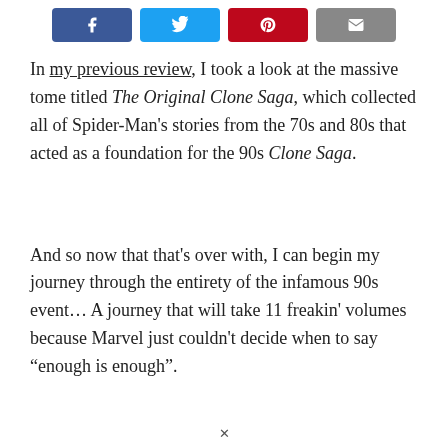[Figure (other): Social share buttons row: Facebook (blue), Twitter (light blue), Pinterest (red), Email (grey)]
In my previous review, I took a look at the massive tome titled The Original Clone Saga, which collected all of Spider-Man's stories from the 70s and 80s that acted as a foundation for the 90s Clone Saga.
And so now that that's over with, I can begin my journey through the entirety of the infamous 90s event… A journey that will take 11 freakin' volumes because Marvel just couldn't decide when to say “enough is enough”.